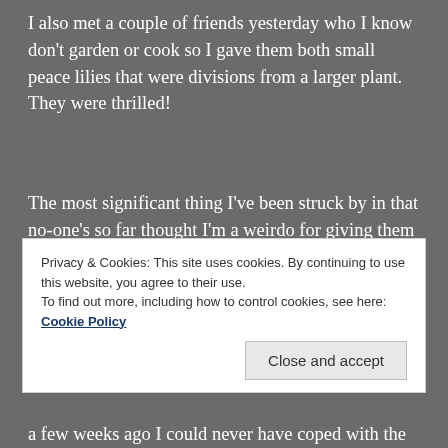I also met a couple of friends yesterday who I know don't garden or cook so I gave them both small peace lilies that were divisions from a larger plant. They were thrilled!
The most significant thing I've been struck by in that no-one's so far thought I'm a weirdo for giving them a plant!! I knew I'd be fairly safe with giving plants to friends, but it does feel like the biggest impact has been on the people I don't know, and, interestingly, they're the people who've used the language of kindness
Privacy & Cookies: This site uses cookies. By continuing to use this website, you agree to their use.
To find out more, including how to control cookies, see here: Cookie Policy
a few weeks ago I could never have coped with the